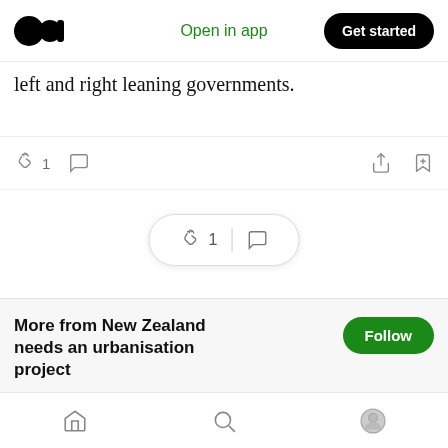Medium logo | Open in app | Get started
left and right leaning governments.
[Figure (screenshot): Article action bar with clap icon showing 1 clap, comment icon, share icon, and bookmark icon]
[Figure (screenshot): Floating pill with clap icon showing 1, divider, and comment icon]
More from New Zealand needs an urbanisation project
A collection of essays about cities, housing, land, the built environment and transport which collectively make the case for New Zealand to implement a wide ranging urbanisation project
Home | Search | Profile navigation icons